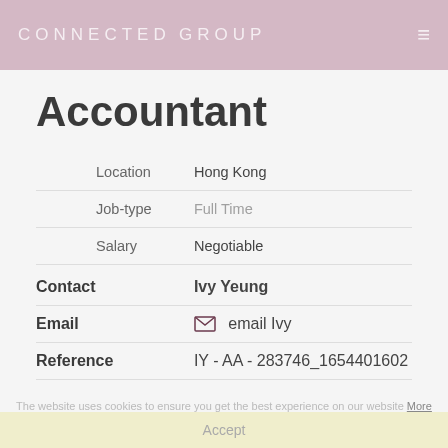CONNECTED GROUP
Accountant
| Field | Value |
| --- | --- |
| Location | Hong Kong |
| Job-type | Full Time |
| Salary | Negotiable |
| Field | Value |
| --- | --- |
| Contact | Ivy Yeung |
| Email | email Ivy |
| Reference | IY - AA - 283746_1654401602 |
The website uses cookies to ensure you get the best experience on our website More
Accept